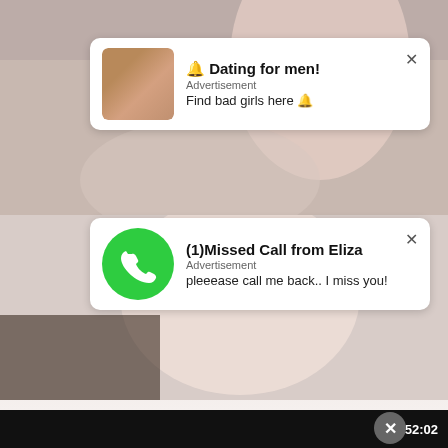[Figure (screenshot): Background image of a person, blurred/faded, visible behind ad cards]
🔔 Dating for men!
Advertisement
Find bad girls here 🔔
(1)Missed Call from Eliza
Advertisement
pleeease call me back.. I miss you!
LOVED TEEN ANAL RIDING
Anal  Asian  Cute  Japanese  Small Tits
52:02